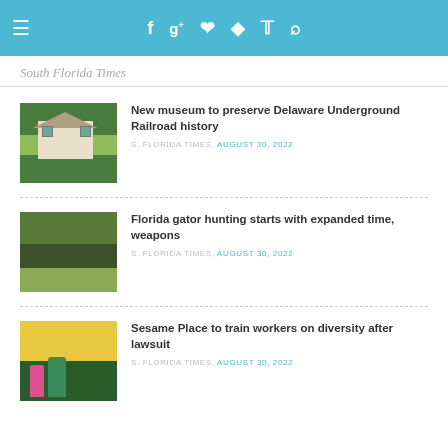South Florida Times — navigation bar with hamburger menu and social icons (Facebook, Google+, Pinterest, RSS, Twitter, Search)
South Florida Times
New museum to preserve Delaware Underground Railroad history
S. FLORIDA TIMES, AUGUST 30, 2022
Florida gator hunting starts with expanded time, weapons
S. FLORIDA TIMES, AUGUST 30, 2022
Sesame Place to train workers on diversity after lawsuit
S. FLORIDA TIMES, AUGUST 30, 2022